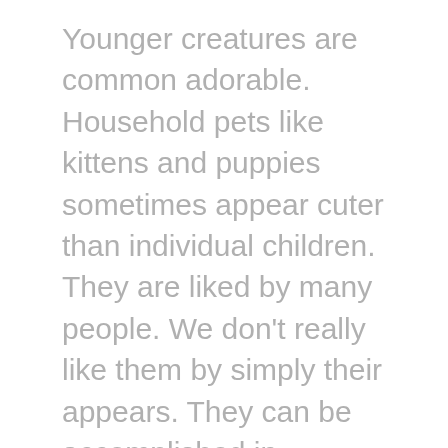Younger creatures are common adorable. Household pets like kittens and puppies sometimes appear cuter than individual children. They are liked by many people. We don't really like them by simply their appears. They can be accomplished in numerous believes, exactly like we people do. Whenever they can respond to our orders, they become our accurate good friends. Their abilities could be presented with puppy training. Discover ways to workout your puppy correctly and become its dog food & treats good friend. Understanding them Exactly like us, young puppies have their connections and...